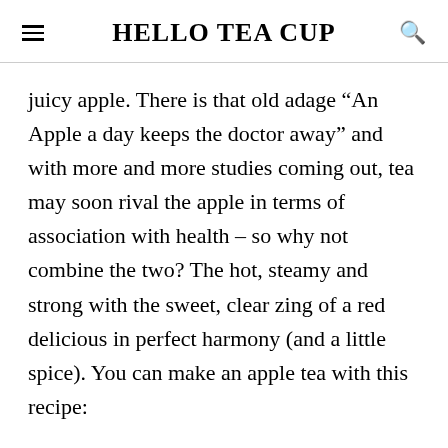HELLO TEA CUP
juicy apple. There is that old adage “An Apple a day keeps the doctor away” and with more and more studies coming out, tea may soon rival the apple in terms of association with health – so why not combine the two? The hot, steamy and strong with the sweet, clear zing of a red delicious in perfect harmony (and a little spice). You can make an apple tea with this recipe:
Ingredients